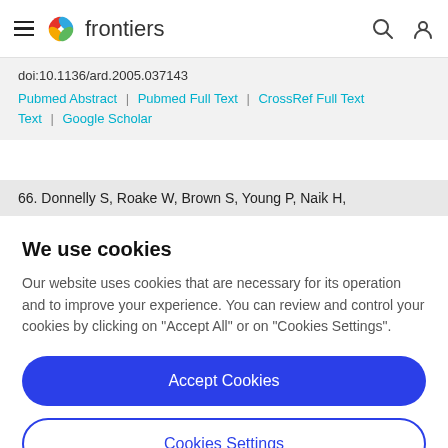frontiers
doi:10.1136/ard.2005.037143
Pubmed Abstract | Pubmed Full Text | CrossRef Full Text | Google Scholar
66. Donnelly S, Roake W, Brown S, Young P, Naik H,
We use cookies
Our website uses cookies that are necessary for its operation and to improve your experience. You can review and control your cookies by clicking on "Accept All" or on "Cookies Settings".
Accept Cookies
Cookies Settings